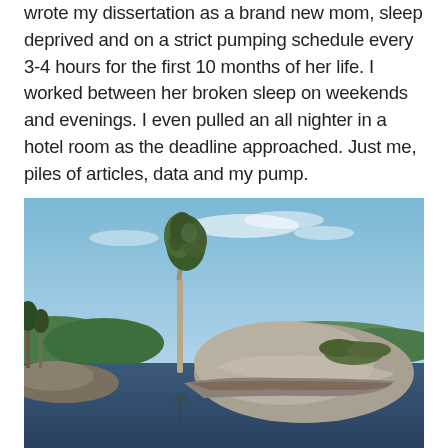wrote my dissertation as a brand new mom, sleep deprived and on a strict pumping schedule every 3-4 hours for the first 10 months of her life. I worked between her broken sleep on weekends and evenings. I even pulled an all nighter in a hotel room as the deadline approached. Just me, piles of articles, data and my pump.
[Figure (photo): Outdoor nature photo showing a small rocky island or outcrop in a lake or river, with a single slender tree growing on the left side of the rocks and some low shrubs on the right. The background shows forested hills and a blue sky with light clouds. The water is dark and calm. Trees and hills are visible on the left edge.]